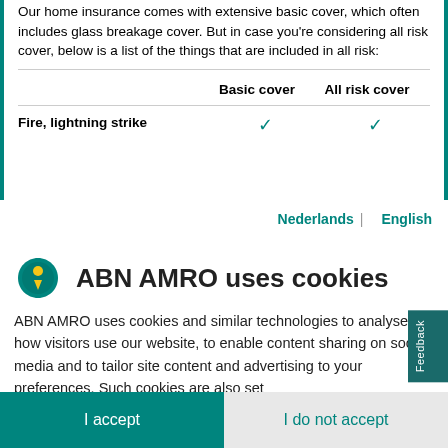Our home insurance comes with extensive basic cover, which often includes glass breakage cover. But in case you're considering all risk cover, below is a list of the things that are included in all risk:
|  | Basic cover | All risk cover |
| --- | --- | --- |
| Fire, lightning strike | ✓ | ✓ |
Nederlands | English
ABN AMRO uses cookies
ABN AMRO uses cookies and similar technologies to analyse how visitors use our website, to enable content sharing on social media and to tailor site content and advertising to your preferences. Such cookies are also set
I accept
I do not accept